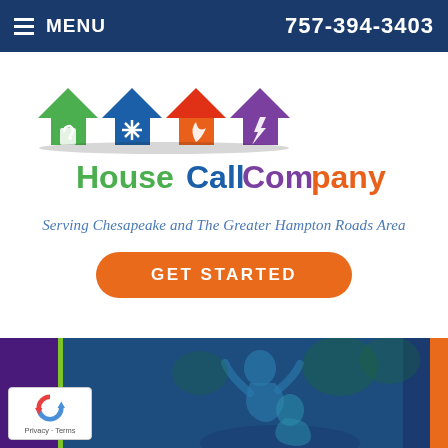MENU | 757-394-3403
[Figure (logo): HouseCallCompany logo with four house icons (green with plumbing, blue with snowflake, orange-red with flame, purple with lightning bolt) above the text HouseCallCompany in multicolor]
Serving Chesapeake and The Greater Hampton Roads Area
GET STARTED
[Figure (photo): Blue-tinted photo of a person lifting another person outdoors, with purple, green, blue, and orange color panels on the left and right edges]
Privacy · Terms